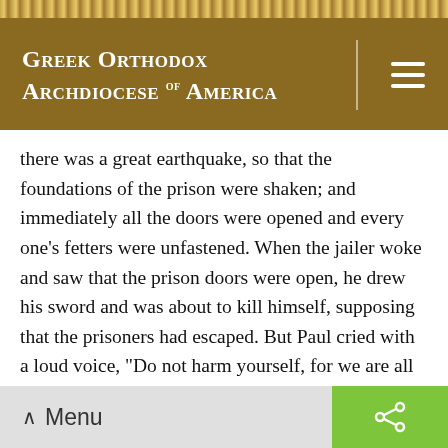Greek Orthodox Archdiocese of America
there was a great earthquake, so that the foundations of the prison were shaken; and immediately all the doors were opened and every one's fetters were unfastened. When the jailer woke and saw that the prison doors were open, he drew his sword and was about to kill himself, supposing that the prisoners had escaped. But Paul cried with a loud voice, "Do not harm yourself, for we are all here." And he called for lights and rushed in, and trembling with fear he fell down before Paul and Silas, and brought them out and said, "Men, what must I do to be saved?" And they said, "Believe in the Lord Jesus, and you will be saved, you and your household." A
Menu